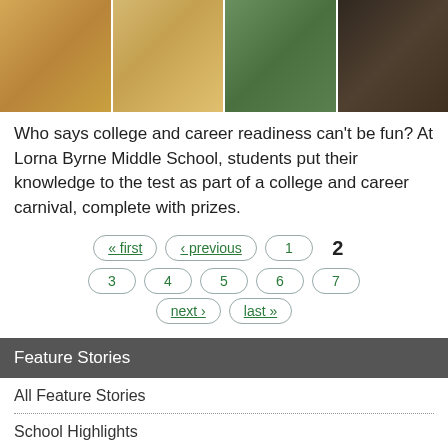[Figure (photo): Four photos from a school gymnasium showing a college and career carnival at Lorna Byrne Middle School]
Who says college and career readiness can't be fun? At Lorna Byrne Middle School, students put their knowledge to the test as part of a college and career carnival, complete with prizes.
Pagination: « first, ‹ previous, 1, 2 (current), 3, 4, 5, 6, 7, next ›, last »
Feature Stories
All Feature Stories
School Highlights